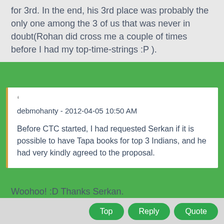for 3rd. In the end, his 3rd place was probably the only one among the 3 of us that was never in doubt(Rohan did cross me a couple of times before I had my top-time-strings :P ).
' debmohanty - 2012-04-05 10:50 AM

Before CTC started, I had requested Serkan if it is possible to have Tapa books for top 3 Indians, and he had very kindly agreed to the proposal.
Woohoo! :D Thanks Serkan.